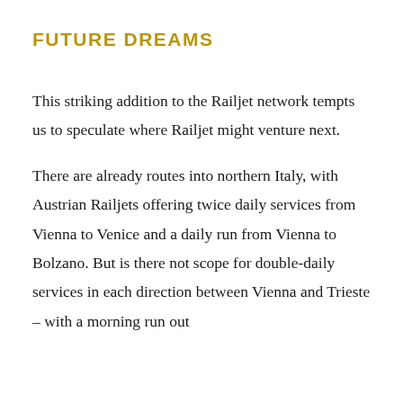FUTURE DREAMS
This striking addition to the Railjet network tempts us to speculate where Railjet might venture next.
There are already routes into northern Italy, with Austrian Railjets offering twice daily services from Vienna to Venice and a daily run from Vienna to Bolzano. But is there not scope for double-daily services in each direction between Vienna and Trieste – with a morning run out